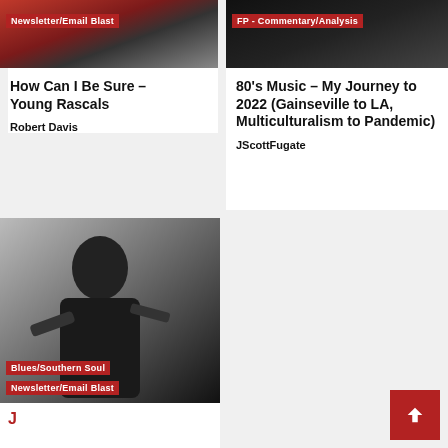[Figure (photo): Partial red/dark photo with Newsletter/Email Blast tag — Young Rascals article header]
How Can I Be Sure – Young Rascals
Robert Davis
[Figure (photo): Dark circular/black image with FP - Commentary/Analysis tag]
80's Music – My Journey to 2022 (Gainseville to LA, Multiculturalism to Pandemic)
JScottFugate
[Figure (photo): Black and white photo of a man playing guitar, with Blues/Southern Soul and Newsletter/Email Blast tags]
Blues/Southern Soul
Newsletter/Email Blast